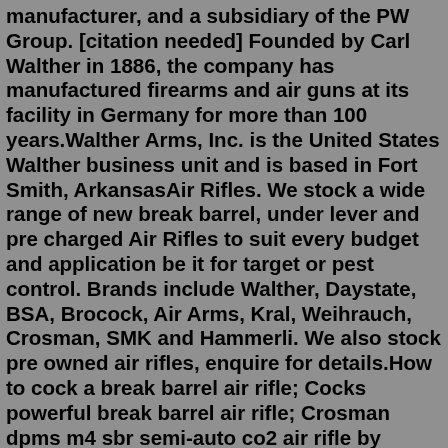manufacturer, and a subsidiary of the PW Group. [citation needed] Founded by Carl Walther in 1886, the company has manufactured firearms and air guns at its facility in Germany for more than 100 years.Walther Arms, Inc. is the United States Walther business unit and is based in Fort Smith, ArkansasAir Rifles. We stock a wide range of new break barrel, under lever and pre charged Air Rifles to suit every budget and application be it for target or pest control. Brands include Walther, Daystate, BSA, Brocock, Air Arms, Kral, Weihrauch, Crosman, SMK and Hammerli. We also stock pre owned air rifles, enquire for details.How to cock a break barrel air rifle; Cocks powerful break barrel air rifle; Crosman dpms m4 sbr semi-auto co2 air rifle by airsoft gun i... Walther lg400-e anatomic expert, right, m-grip, shot capacit... Black gamo roadster igt 10x gen2 air rifle by manavguns; Black and brown metal batman junior air gun, shot capacity: ... Aarmr national model ...Walther Reign UXT PCP Bullpup Air Rifle (.25 Caliber) $624.95 Walther Parrus/Terrus rear site